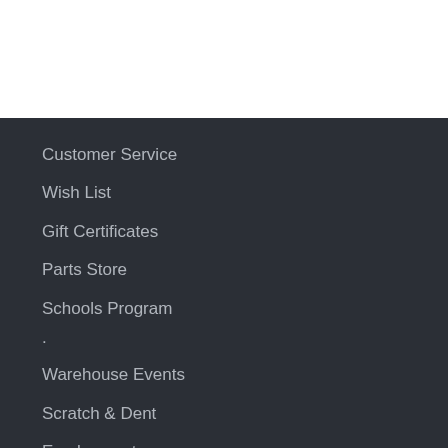Customer Service
Wish List
Gift Certificates
Parts Store
Schools Program
Warehouse Events
Scratch & Dent
Employment
Manuals